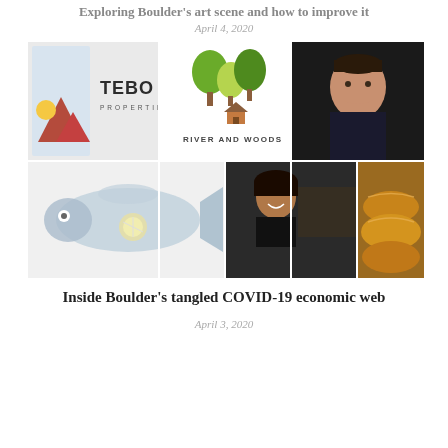Exploring Boulder's art scene and how to improve it
April 4, 2020
[Figure (photo): Collage of images: Tebo Properties logo (top-left), River and Woods restaurant logo (top-center), man portrait (top-right), illustrated fish (bottom-left), woman in kitchen (bottom-center), bread loaves (bottom-right)]
Inside Boulder's tangled COVID-19 economic web
April 3, 2020